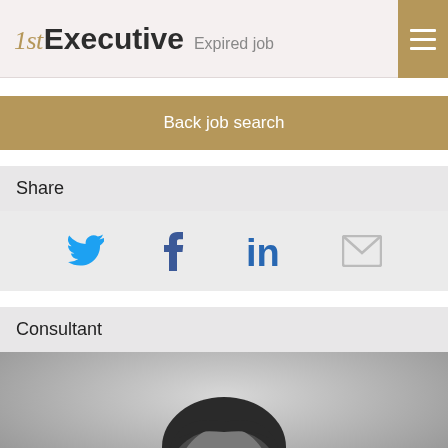1stExecutive  Expired job
Back job search
Share
[Figure (infographic): Social share icons: Twitter bird (blue), Facebook f (dark blue), LinkedIn in (blue), Email envelope (grey)]
Consultant
[Figure (photo): Black and white portrait photo of a male consultant, shown from shoulders up, with dark styled hair, against a grey background]